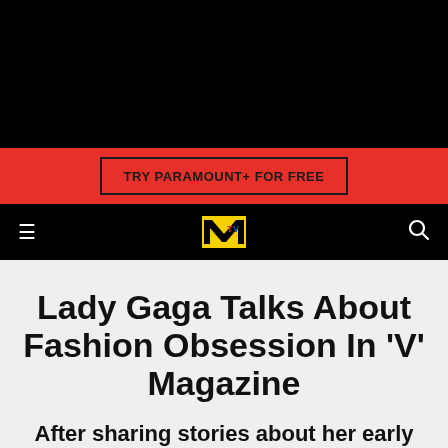[Figure (screenshot): Black top banner area (navigation/hero area cropped)]
TRY PARAMOUNT+ FOR FREE
MTV logo navigation bar with hamburger menu and search icon
Lady Gaga Talks About Fashion Obsession In 'V' Magazine
After sharing stories about her early career, Gaga writes her first column for the mag.